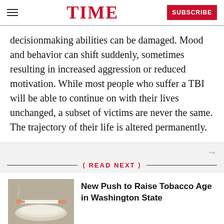TIME | SUBSCRIBE
decisionmaking abilities can be damaged. Mood and behavior can shift suddenly, sometimes resulting in increased aggression or reduced motivation. While most people who suffer a TBI will be able to continue on with their lives unchanged, a subset of victims are never the same. The trajectory of their life is altered permanently.
READ NEXT
[Figure (photo): Photo of a lit cigarette resting on an ashtray, with smoke rising]
New Push to Raise Tobacco Age in Washington State